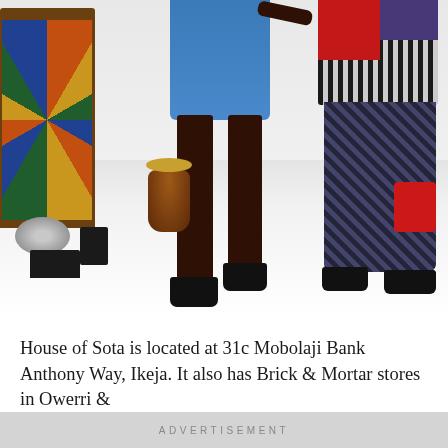[Figure (photo): Fashion show photo with models walking a runway. A tall adult model in blue shorts holds hands with a child model in a houndstooth/patterned outfit with red accents. Seated audience visible on the left with colorful attire. A djembe drum on the floor center. White runway floor.]
House of Sota is located at 31c Mobolaji Bank Anthony Way, Ikeja. It also has Brick & Mortar stores in Owerri &
ADVERTISEMENT